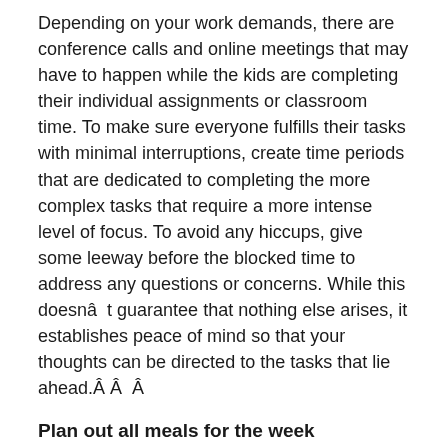Depending on your work demands, there are conference calls and online meetings that may have to happen while the kids are completing their individual assignments or classroom time. To make sure everyone fulfills their tasks with minimal interruptions, create time periods that are dedicated to completing the more complex tasks that require a more intense level of focus. To avoid any hiccups, give some leeway before the blocked time to address any questions or concerns. While this doesnât guarantee that nothing else arises, it establishes peace of mind so that your thoughts can be directed to the tasks that lie ahead.Â Â  Â
Plan out all meals for the week
If meal prepping wasnât your thing before, it definitely should be now. Having lunch and/or dinner already prepared not only saves you time (which is a